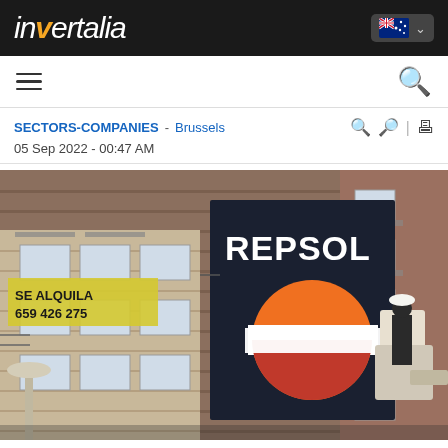invertalia
SECTORS-COMPANIES - Brussels
05 Sep 2022 - 00:47 AM
[Figure (photo): Repsol gas station sign with worker in cherry picker/boom lift. Background shows brick apartment building with a 'SE ALQUILA 659 426 275' rental sign banner. A worker wearing a white hard hat is standing in an elevated platform next to the large dark Repsol branded sign showing the company logo (orange circle with white and red planet-ring design).]